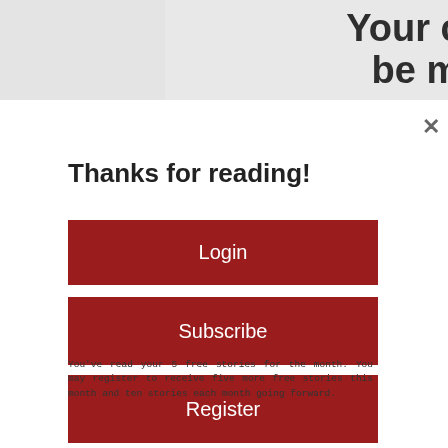[Figure (screenshot): Partially visible webpage header with bold text reading 'Your call may won't be monitored for' where 'may' appears in italic and lighter reddish color, 'won't' in lighter reddish italic, on a light gray background.]
Thanks for reading!
Login
Subscribe
Register
You've read your 5 free stories for the month. You may register to receive five more free stories this month and ten stories each month going forward.